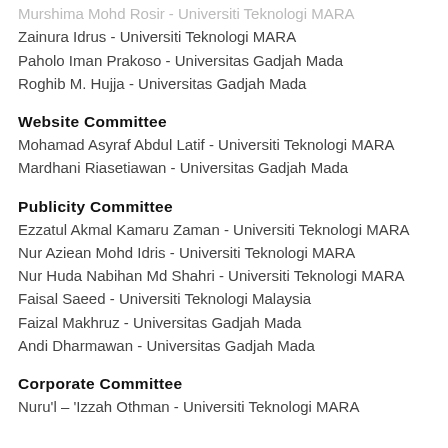Murshima Mohd Rosir - Universiti Teknologi MARA
Zainura Idrus - Universiti Teknologi MARA
Paholo Iman Prakoso - Universitas Gadjah Mada
Roghib M. Hujja - Universitas Gadjah Mada
Website Committee
Mohamad Asyraf Abdul Latif - Universiti Teknologi MARA
Mardhani Riasetiawan - Universitas Gadjah Mada
Publicity Committee
Ezzatul Akmal Kamaru Zaman - Universiti Teknologi MARA
Nur Aziean Mohd Idris - Universiti Teknologi MARA
Nur Huda Nabihan Md Shahri - Universiti Teknologi MARA
Faisal Saeed - Universiti Teknologi Malaysia
Faizal Makhruz - Universitas Gadjah Mada
Andi Dharmawan - Universitas Gadjah Mada
Corporate Committee
Nuru'l – 'Izzah Othman - Universiti Teknologi MARA